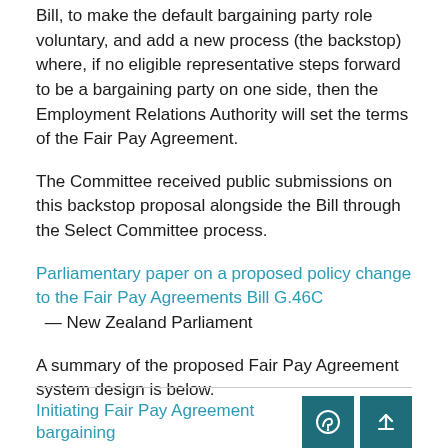Bill, to make the default bargaining party role voluntary, and add a new process (the backstop) where, if no eligible representative steps forward to be a bargaining party on one side, then the Employment Relations Authority will set the terms of the Fair Pay Agreement.
The Committee received public submissions on this backstop proposal alongside the Bill through the Select Committee process.
Parliamentary paper on a proposed policy change to the Fair Pay Agreements Bill G.46C — New Zealand Parliament
A summary of the proposed Fair Pay Agreement system design is below.
Initiating Fair Pay Agreement bargaining